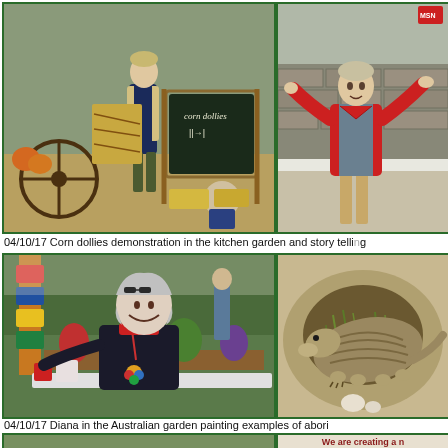[Figure (photo): Woman demonstrating corn dollies in a kitchen garden, with a chalkboard sign reading 'corn dollies']
[Figure (photo): Woman in red jacket standing in a garden pointing to a raised bed]
04/10/17 Corn dollies demonstration in the kitchen garden and story telling
[Figure (photo): Diana smiling in the Australian garden, seated at a table with craft supplies]
[Figure (photo): Close-up of an armadillo-like animal in sandy soil with grass]
04/10/17 Diana in the Australian garden painting examples of abori
[Figure (photo): Landscape view of a garden path]
We are creating a n